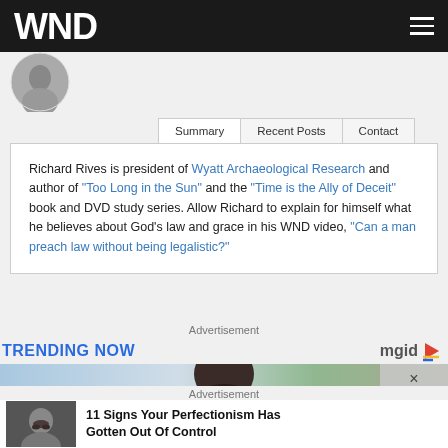WND
[Figure (photo): Circular author headshot photo, partially visible]
Summary | Recent Posts | Contact
Richard Rives is president of Wyatt Archaeological Research and author of "Too Long in the Sun" and the "Time is the Ally of Deceit" book and DVD study series. Allow Richard to explain for himself what he believes about God's law and grace in his WND video, "Can a man preach law without being legalistic?"
Advertisement
TRENDING NOW
[Figure (photo): Person with dark hair, trending content image]
Advertisement
[Figure (photo): Thumbnail of person making a face]
11 Signs Your Perfectionism Has Gotten Out Of Control